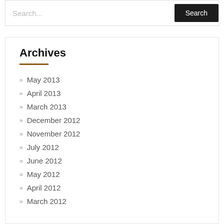Search...
Search
Archives
May 2013
April 2013
March 2013
December 2012
November 2012
July 2012
June 2012
May 2012
April 2012
March 2012